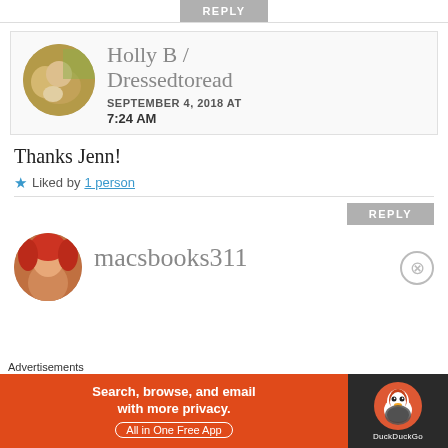REPLY
[Figure (photo): Circular avatar photo of Holly B / Dressedtoread showing a woman and child outdoors]
Holly B / Dressedtoread
SEPTEMBER 4, 2018 AT 7:24 AM
Thanks Jenn!
★ Liked by 1 person
REPLY
[Figure (photo): Circular avatar photo of macsbooks311 showing partial face with red hair]
macsbooks311
Advertisements
[Figure (other): DuckDuckGo advertisement banner: Search, browse, and email with more privacy. All in One Free App.]